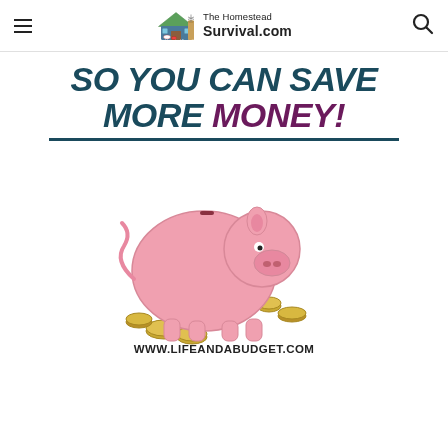The Homestead Survival.com
[Figure (infographic): Promotional infographic with bold text 'SO YOU CAN SAVE MORE MONEY!' in dark teal and purple, a pink piggy bank with coins scattered around it, and the URL www.lifeandabudget.com below]